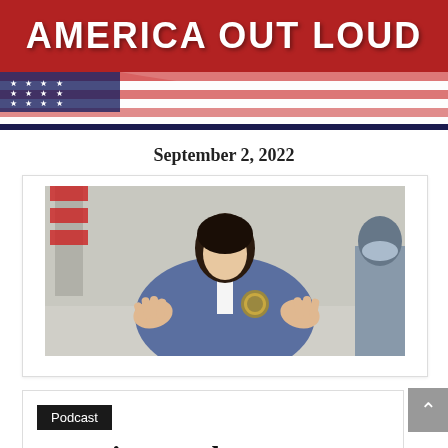AMERICA OUT LOUD
September 2, 2022
[Figure (photo): A woman in a blue jacket with an official seal gesturing with both hands, with an American flag visible in the background]
Podcast
Questions and Answers from